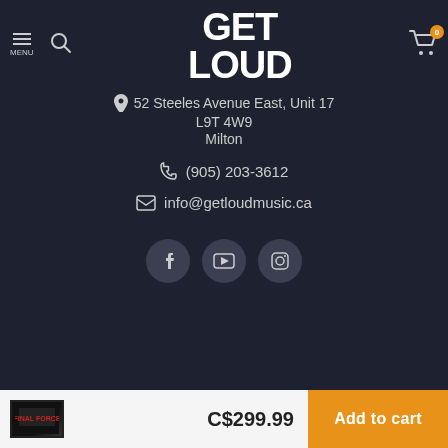GET LOUD
52 Steeles Avenue East, Unit 17
L9T 4W9
Milton
(905) 203-3612
info@getloudmusic.ca
[Figure (infographic): Social media icons: Facebook, YouTube, Instagram]
C$299.99
Add to cart